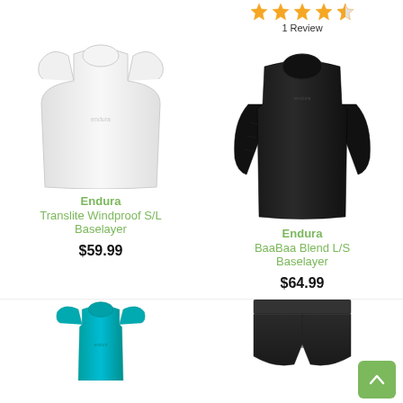[Figure (photo): White sleeveless Endura Translite Windproof S/L Baselayer shirt]
[Figure (photo): Black long-sleeve Endura BaaBaa Blend L/S Baselayer shirt with 4.5 star rating, 1 Review]
Endura
Translite Windproof S/L Baselayer
$59.99
Endura
BaaBaa Blend L/S Baselayer
$64.99
[Figure (photo): Teal short-sleeve cycling base layer shirt (partially visible)]
[Figure (photo): Black cycling shorts/bib shorts (partially visible)]